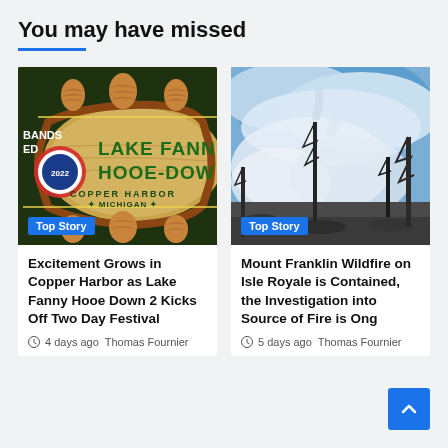You may have missed
[Figure (photo): Lake Fanny Hooe Down 2022 festival poster with pine cones and logo, Copper Harbor Michigan, labeled Top Story]
[Figure (photo): Mount Franklin Wildfire smoke and burned trees scene, labeled Top Story]
Excitement Grows in Copper Harbor as Lake Fanny Hooe Down 2 Kicks Off Two Day Festival
4 days ago  Thomas Fournier
Mount Franklin Wildfire on Isle Royale is Contained, the Investigation into Source of Fire is Ongoing
5 days ago  Thomas Fournier